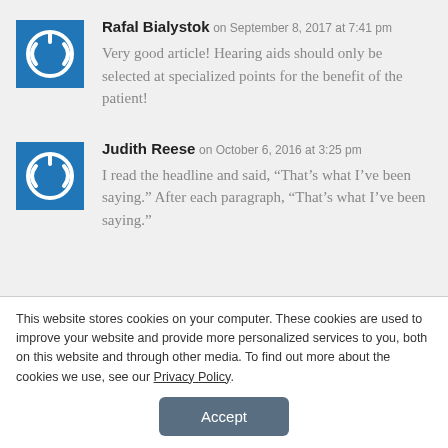Rafal Bialystok on September 8, 2017 at 7:41 pm
Very good article! Hearing aids should only be selected at specialized points for the benefit of the patient!
Judith Reese on October 6, 2016 at 3:25 pm
I read the headline and said, “That’s what I’ve been saying.” After each paragraph, “That’s what I’ve been saying.”
This website stores cookies on your computer. These cookies are used to improve your website and provide more personalized services to you, both on this website and through other media. To find out more about the cookies we use, see our Privacy Policy.